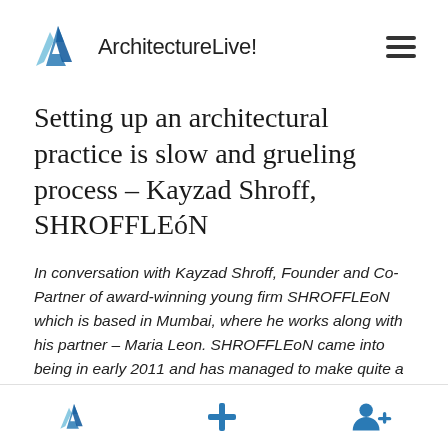ArchitectureLive!
Setting up an architectural practice is slow and grueling process – Kayzad Shroff, SHROFFLEóN
In conversation with Kayzad Shroff, Founder and Co-Partner of award-winning young firm SHROFFLEoN which is based in Mumbai, where he works along with his partner – Maria Leon. SHROFFLEoN came into being in early 2011 and has managed to make quite a